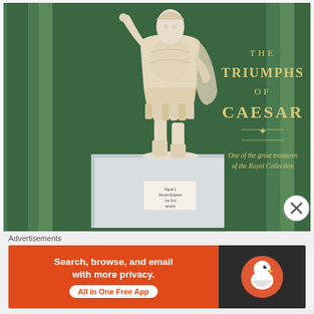[Figure (photo): A marble statue of a Roman emperor in military dress (lorica musculata and paludamentum), mounted on a white pedestal with a small placard. The background features a dark green draped curtain and a green exhibition banner reading 'THE TRIUMPHS OF CAESAR – One of the great treasures of the Royal Collection'. A small museum label is visible on the pedestal.]
Advertisements
[Figure (other): DuckDuckGo advertisement banner. Left side: orange background with white bold text 'Search, browse, and email with more privacy.' and a white pill button 'All in One Free App'. Right side: dark background with DuckDuckGo duck logo.]